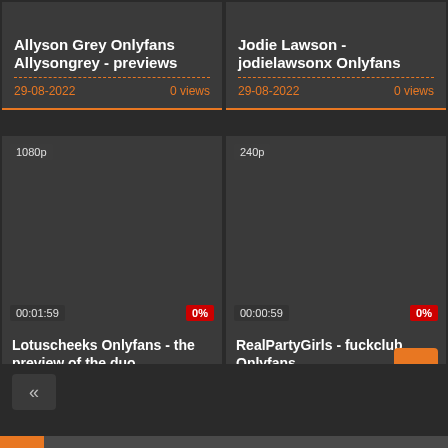Allyson Grey Onlyfans Allysongrey - previews
29-08-2022   0 views
Jodie Lawson - jodielawsonx Onlyfans
29-08-2022   0 views
[Figure (screenshot): Dark video thumbnail with 1080p badge, duration 00:01:59, 0% progress indicator]
Lotuscheeks Onlyfans - the preview of the duo
29-08-2022   0 views
[Figure (screenshot): Dark video thumbnail with 240p badge, duration 00:00:59, 0% progress indicator]
RealPartyGirls - fuckclub Onlyfans
29-08-2022   0 views